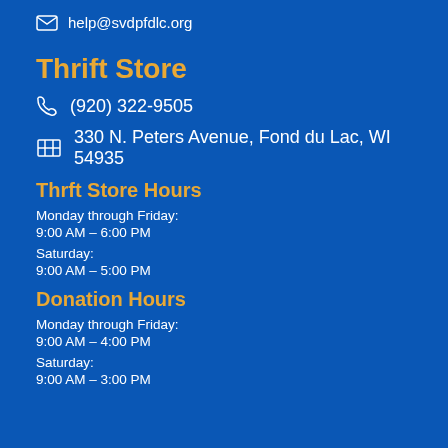help@svdpfdlc.org
Thrift Store
(920) 322-9505
330 N. Peters Avenue, Fond du Lac, WI 54935
Thrft Store Hours
Monday through Friday:
9:00 AM - 6:00 PM
Saturday:
9:00 AM - 5:00 PM
Donation Hours
Monday through Friday:
9:00 AM - 4:00 PM
Saturday:
9:00 AM - 3:00 PM